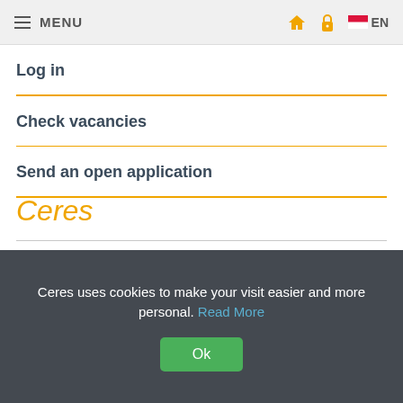MENU | Home | Lock | EN
Log in
Check vacancies
Send an open application
Ceres
Ceres uses cookies to make your visit easier and more personal. Read More
Ok